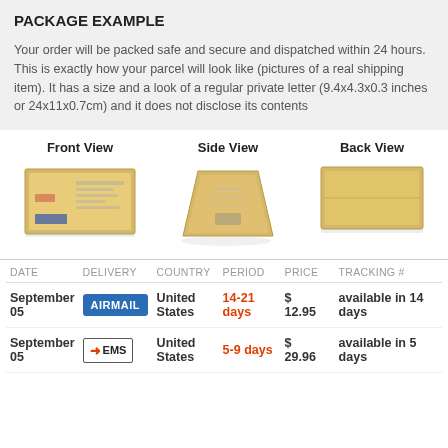PACKAGE EXAMPLE
Your order will be packed safe and secure and dispatched within 24 hours. This is exactly how your parcel will look like (pictures of a real shipping item). It has a size and a look of a regular private letter (9.4x4.3x0.3 inches or 24x11x0.7cm) and it does not disclose its contents
[Figure (photo): Three views of a padded envelope/mailer: Front View showing address labels, Side View showing the envelope from the side at an angle, Back View showing the plain back of the envelope.]
| DATE | DELIVERY | COUNTRY | PERIOD | PRICE | TRACKING # |
| --- | --- | --- | --- | --- | --- |
| September 05 | AIRMAIL | United States | 14-21 days | $ 12.95 | available in 14 days |
| September 05 | EMS | United States | 5-9 days | $ 29.96 | available in 5 days |